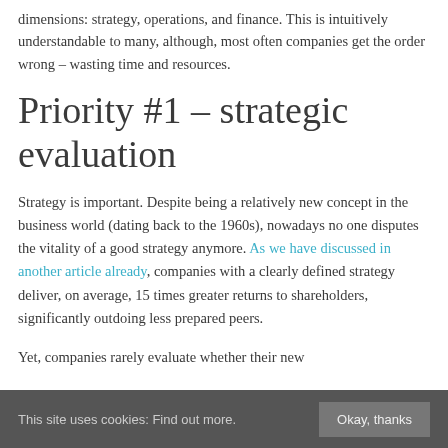dimensions: strategy, operations, and finance. This is intuitively understandable to many, although, most often companies get the order wrong – wasting time and resources.
Priority #1 – strategic evaluation
Strategy is important. Despite being a relatively new concept in the business world (dating back to the 1960s), nowadays no one disputes the vitality of a good strategy anymore. As we have discussed in another article already, companies with a clearly defined strategy deliver, on average, 15 times greater returns to shareholders, significantly outdoing less prepared peers.
Yet, companies rarely evaluate whether their new
This site uses cookies: Find out more. Okay, thanks